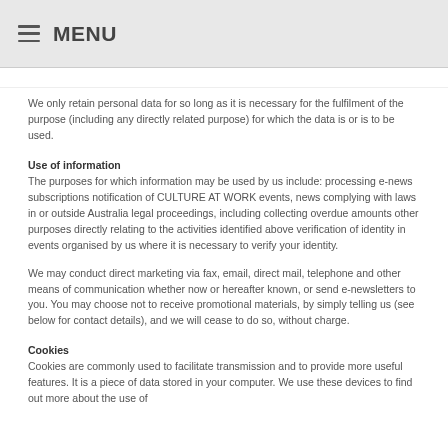MENU
We only retain personal data for so long as it is necessary for the fulfilment of the purpose (including any directly related purpose) for which the data is or is to be used.
Use of information
The purposes for which information may be used by us include: processing e-news subscriptions notification of CULTURE AT WORK events, news complying with laws in or outside Australia legal proceedings, including collecting overdue amounts other purposes directly relating to the activities identified above verification of identity in events organised by us where it is necessary to verify your identity.
We may conduct direct marketing via fax, email, direct mail, telephone and other means of communication whether now or hereafter known, or send e-newsletters to you. You may choose not to receive promotional materials, by simply telling us (see below for contact details), and we will cease to do so, without charge.
Cookies
Cookies are commonly used to facilitate transmission and to provide more useful features. It is a piece of data stored in your computer. We use these devices to find out more about the use of